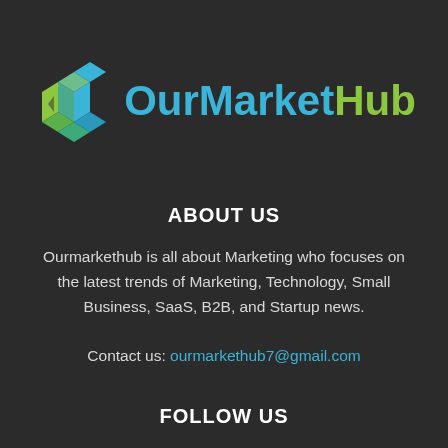[Figure (logo): OurMarketHub logo with 3D cube icon and text 'OurMarketHub' where 'OurMarket' is in cyan/blue and 'Hub' is in green]
ABOUT US
Ourmarkethub is all about Marketing who focuses on the latest trends of Marketing, Technology, Small Business, SaaS, B2B, and Startup news.
Contact us: ourmarkethub7@gmail.com
FOLLOW US